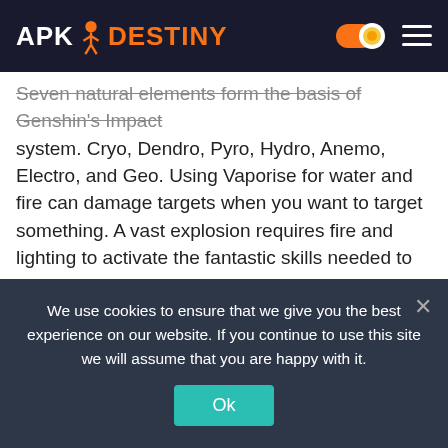APK DESTINY
Seven natural elements form the basis of Genshin's Impact system. Cryo, Dendro, Pyro, Hydro, Anemo, Electro, and Geo. Using Vaporise for water and fire can damage targets when you want to target something. A vast explosion requires fire and lighting to activate the fantastic skills needed to produce it. Utilizing the city's most effective combinations against the enemy will give you an edge in this game. Character skills require the energy element to be accumulated before they can be used.If you want like a pokemon hunter and caught amazing pokomens and train them you show downlaod and play Pokemon Go Mod Apk you like this game.
We use cookies to ensure that we give you the best experience on our website. If you continue to use this site we will assume that you are happy with it.